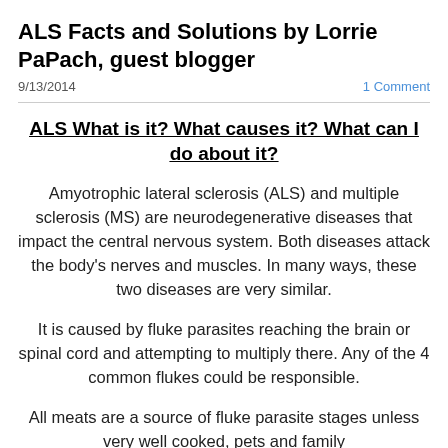ALS Facts and Solutions by Lorrie PaPach, guest blogger
9/13/2014
1 Comment
ALS What is it? What causes it? What can I do about it?
Amyotrophic lateral sclerosis (ALS) and multiple sclerosis (MS) are neurodegenerative diseases that impact the central nervous system. Both diseases attack the body's nerves and muscles. In many ways, these two diseases are very similar.
It is caused by fluke parasites reaching the brain or spinal cord and attempting to multiply there. Any of the 4 common flukes could be responsible.
All meats are a source of fluke parasite stages unless very well cooked, pets and family